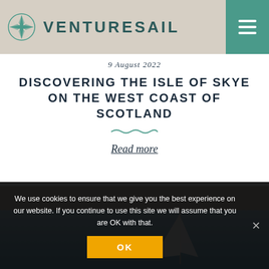VENTURESAIL
9 August 2022
DISCOVERING THE ISLE OF SKYE ON THE WEST COAST OF SCOTLAND
Read more
[Figure (photo): Sailboat mast against blue sky]
We use cookies to ensure that we give you the best experience on our website. If you continue to use this site we will assume that you are OK with that.